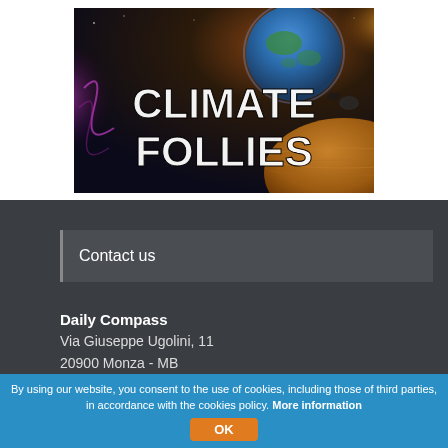[Figure (illustration): Climate Follies banner image showing Earth and planets with bold white text reading CLIMATE FOLLIES on a dark space background]
Contact us
Daily Compass
Via Giuseppe Ugolini, 11
20900 Monza - MB
Tel. +39 039 9418930
Email Address
By using our website, you consent to the use of cookies, including those of third parties, in accordance with the cookies policy. More information OK